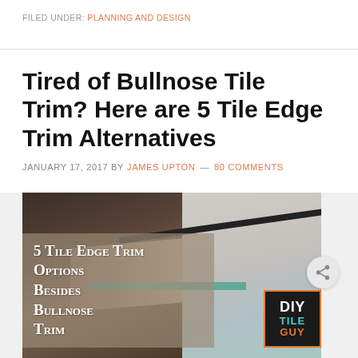FILED UNDER: PLANNING AND DESIGN
Tired of Bullnose Tile Trim? Here are 5 Tile Edge Trim Alternatives
JANUARY 17, 2017 BY JAMES UPTON — 80 COMMENTS
[Figure (photo): Photo of tiled surface with dark brown tile edges. Overlay text reads '5 Tile Edge Trim Options Besides Bullnose Trim'. DIY Tile Guy logo in bottom right corner.]